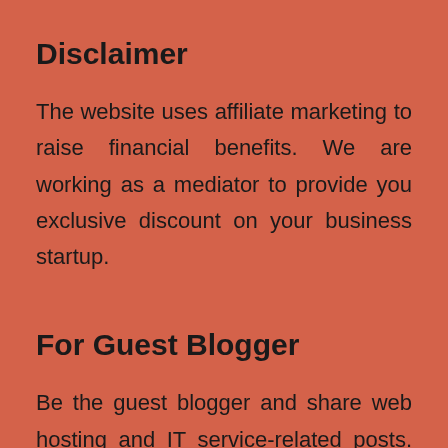Disclaimer
The website uses affiliate marketing to raise financial benefits. We are working as a mediator to provide you exclusive discount on your business startup.
For Guest Blogger
Be the guest blogger and share web hosting and IT service-related posts. We are welcoming those who want to share information through a blog posts. We have